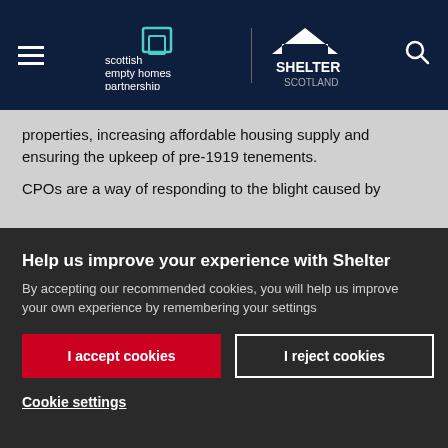[Figure (logo): Scottish Empty Homes Partnership and Shelter Scotland logos in dark navy header bar with hamburger menu and search icon]
properties, increasing affordable housing supply and ensuring the upkeep of pre-1919 tenements.
CPOs are a way of responding to the blight caused by
Help us improve your experience with Shelter
By accepting our recommended cookies, you will help us improve your own experience by remembering your settings
I accept cookies
I reject cookies
Cookie settings